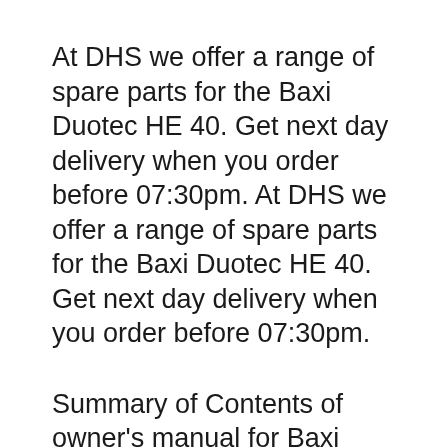At DHS we offer a range of spare parts for the Baxi Duotec HE 40. Get next day delivery when you order before 07:30pm. At DHS we offer a range of spare parts for the Baxi Duotec HE 40. Get next day delivery when you order before 07:30pm.
Summary of Contents of owner's manual for Baxi Megaflo System Compact GA Page 1 UserвЂ™s Operating Instructions & Important Warranty Information Megaflo 2 System Compact GA Range Gas Fired Wall Mounted Condensing System... This manual also for: Duo-tec 2 combi 40 ga, Duo-tec 2 combi 33 ga, Duo-tec 2 combi